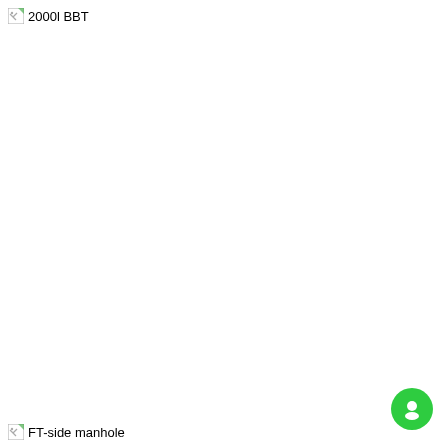[Figure (other): Broken image placeholder labeled '2000l BBT' at top left of page]
[Figure (other): Broken image placeholder labeled 'FT-side manhole' at bottom left of page]
[Figure (other): Green circular chat/support button icon at bottom right of page]